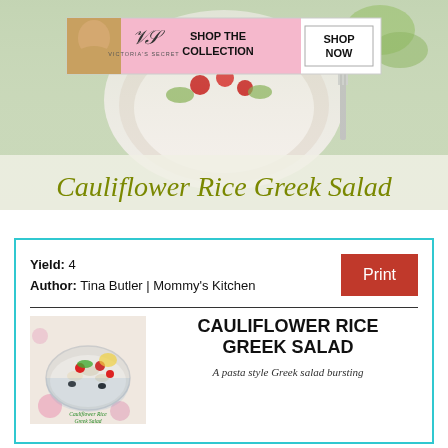[Figure (photo): Hero image of cauliflower rice Greek salad in a white bowl with tomatoes, with a Victoria's Secret advertisement banner overlaid on top, and the title 'Cauliflower Rice Greek Salad' in olive/yellow-green italic font at the bottom of the image.]
[Figure (photo): Small thumbnail photo of cauliflower rice Greek salad in a bowl with cherry tomatoes, olives, and greens on a floral tablecloth, with text 'Cauliflower Rice Greek Salad' overlaid.]
Yield: 4
Author: Tina Butler | Mommy's Kitchen
Print
CAULIFLOWER RICE GREEK SALAD
A pasta style Greek salad bursting